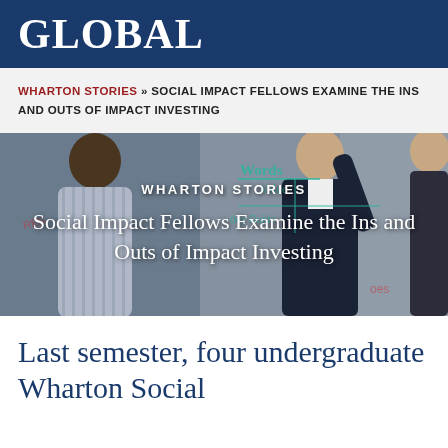GLOBAL
WHARTON STORIES » SOCIAL IMPACT FELLOWS EXAMINE THE INS AND OUTS OF IMPACT INVESTING
[Figure (photo): Two students (seen from behind) writing on a whiteboard, with text overlays reading 'WHARTON STORIES' and 'Social Impact Fellows Examine the Ins and Outs of Impact Investing']
Last semester, four undergraduate Wharton Social